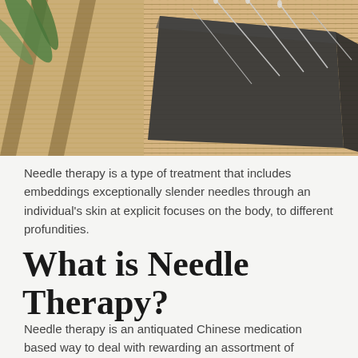[Figure (photo): Acupuncture needles inserted into a dark wooden block, placed on a bamboo mat with green leaves in the background.]
Needle therapy is a type of treatment that includes embeddings exceptionally slender needles through an individual's skin at explicit focuses on the body, to different profundities.
What is Needle Therapy?
Needle therapy is an antiquated Chinese medication based way to deal with rewarding an assortment of conditions by